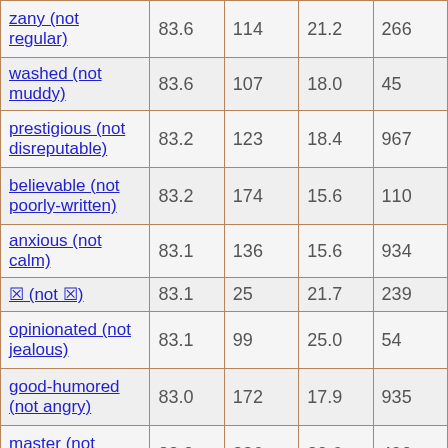| zany (not regular) | 83.6 | 114 | 21.2 | 266 |
| washed (not muddy) | 83.6 | 107 | 18.0 | 45 |
| prestigious (not disreputable) | 83.2 | 123 | 18.4 | 967 |
| believable (not poorly-written) | 83.2 | 174 | 15.6 | 110 |
| anxious (not calm) | 83.1 | 136 | 15.6 | 934 |
| ⊠ (not ⊠) | 83.1 | 25 | 21.7 | 239 |
| opinionated (not jealous) | 83.1 | 99 | 25.0 | 54 |
| good-humored (not angry) | 83.0 | 172 | 17.9 | 935 |
| master (not apprentice) | 83.0 | 336 | 20.6 | 490 |
| open (not guarded) | 82.8 | 37 | 20.3 | 953 |
| liberal (not ... | 82.8 | 134 | 21.0 | 281 |